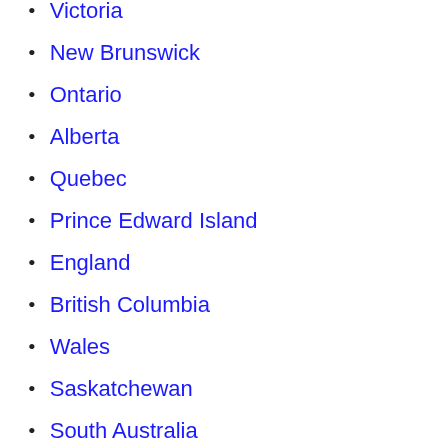Victoria
New Brunswick
Ontario
Alberta
Quebec
Prince Edward Island
England
British Columbia
Wales
Saskatchewan
South Australia
Newfoundland and Labrador